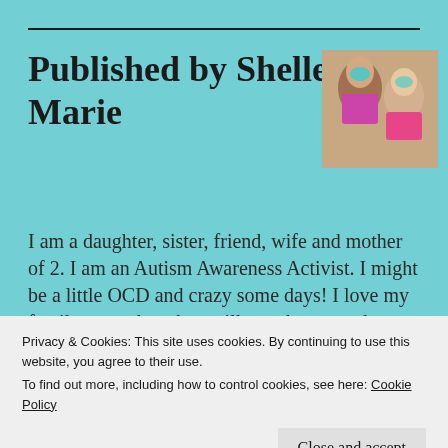Published by Shelley Marie
[Figure (photo): Photo of two females, one with sunglasses and dark hair, one younger smiling girl in pink shirt]
I am a daughter, sister, friend, wife and mother of 2. I am an Autism Awareness Activist. I might be a little OCD and crazy some days! I love my family more than they will ever know, and
Privacy & Cookies: This site uses cookies. By continuing to use this website, you agree to their use.
To find out more, including how to control cookies, see here: Cookie Policy
Close and accept
Lots of Love Shelley View all